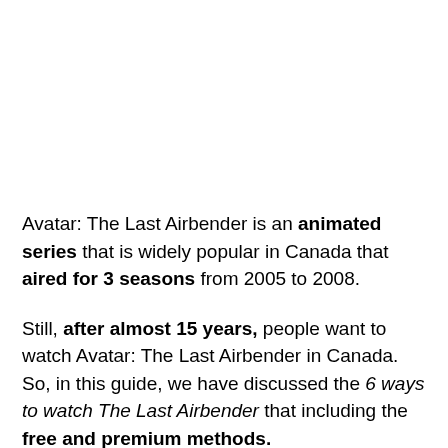Avatar: The Last Airbender is an animated series that is widely popular in Canada that aired for 3 seasons from 2005 to 2008.
Still, after almost 15 years, people want to watch Avatar: The Last Airbender in Canada. So, in this guide, we have discussed the 6 ways to watch The Last Airbender that including the free and premium methods.
If you're into watching Avatar with one of our free methods, it is